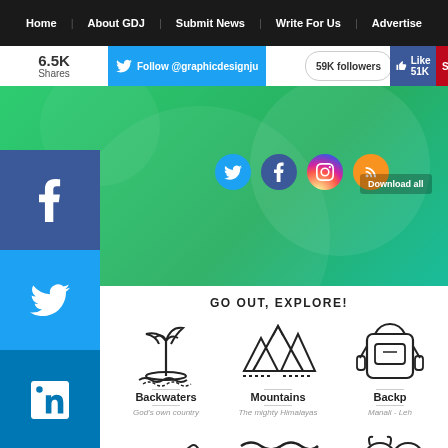Home | About GDJ | Submit News | Write For Us | Advertise
Follow @graphicdesignju  59K followers  Like 51K  SA...
6.5K Shares
[Figure (screenshot): Green banner with social media icons (Twitter, Facebook, Instagram, RSS) and Download all button]
[Figure (infographic): Social share side buttons: Facebook (blue), Twitter (light blue), LinkedIn (dark blue), Pinterest (red), More (+)]
GO OUT, EXPLORE!
[Figure (illustration): Line icon of palm tree island representing Backwaters]
Backwaters
God's own country
[Figure (illustration): Line icon of mountains representing Mountains]
Mountains
The mighty Himalayas
[Figure (illustration): Line icon of backpack representing Backp...]
Backp...
Manali - Leh...
[Figure (illustration): Line icon of pine trees on hills representing Hills]
Hills
Serenity, solitude & simplicity
[Figure (illustration): Line icon of waves representing Beach]
Beach
Sun, sand & the sea.
[Figure (illustration): Line icon of wild animal representing Wild...]
Wild...
National Park...